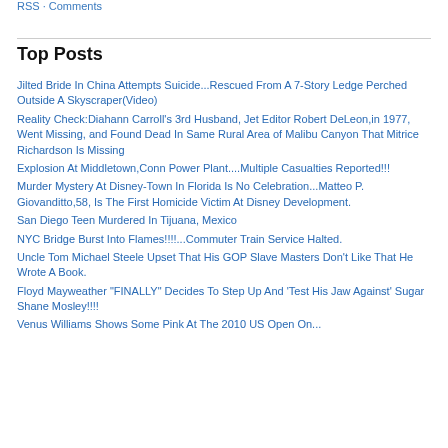RSS · Comments
Top Posts
Jilted Bride In China Attempts Suicide...Rescued From A 7-Story Ledge Perched Outside A Skyscraper(Video)
Reality Check:Diahann Carroll's 3rd Husband, Jet Editor Robert DeLeon,in 1977, Went Missing, and Found Dead In Same Rural Area of Malibu Canyon That Mitrice Richardson Is Missing
Explosion At Middletown,Conn Power Plant....Multiple Casualties Reported!!!
Murder Mystery At Disney-Town In Florida Is No Celebration...Matteo P. Giovanditto,58, Is The First Homicide Victim At Disney Development.
San Diego Teen Murdered In Tijuana, Mexico
NYC Bridge Burst Into Flames!!!!...Commuter Train Service Halted.
Uncle Tom Michael Steele Upset That His GOP Slave Masters Don't Like That He Wrote A Book.
Floyd Mayweather "FINALLY" Decides To Step Up And 'Test His Jaw Against' Sugar Shane Mosley!!!!
Venus Williams Shows Some Pink At The 2010 US Open On...